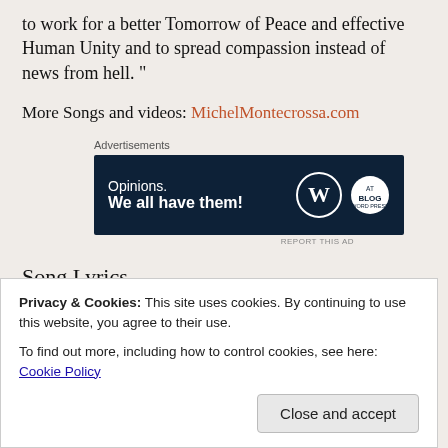to work for a better Tomorrow of Peace and effective Human Unity and to spread compassion instead of news from hell. "
More Songs and videos: MichelMontecrossa.com
[Figure (other): Advertisement banner: 'Opinions. We all have them!' with WordPress and Blog logos on dark navy background]
Song Lyrics
UTOPI
Privacy & Cookies: This site uses cookies. By continuing to use this website, you agree to their use. To find out more, including how to control cookies, see here: Cookie Policy
Close and accept